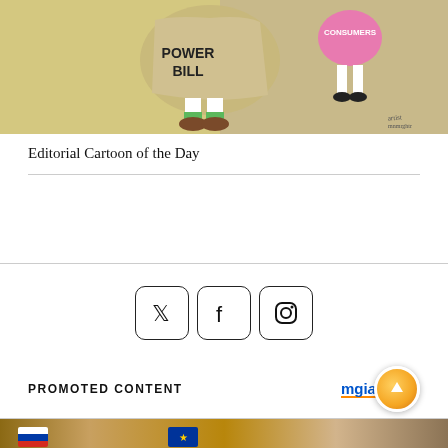[Figure (illustration): Editorial cartoon showing a figure draped in a 'POWER BILL' cloth/disguise with green socks and brown shoes, next to a pink figure labeled 'CONSUMERS'. Background shows a yellow wall. Artist signature visible bottom right.]
Editorial Cartoon of the Day
[Figure (infographic): Social media icons: Twitter (X), Facebook, and Instagram, each in a rounded square border button.]
PROMOTED CONTENT
[Figure (logo): mgia logo with orange upward arrow circle badge]
[Figure (photo): Bottom strip showing a photo with Russian flag and EU flag visible, sandy/earthy background tones.]